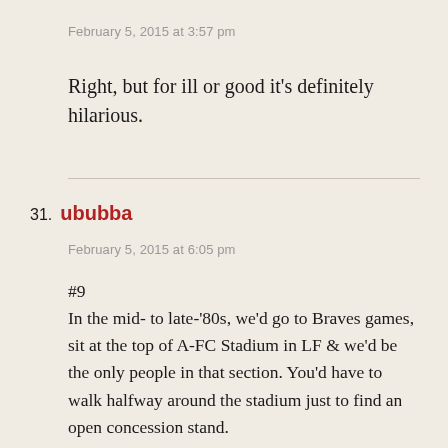February 5, 2015 at 3:57 pm
Right, but for ill or good it’s definitely hilarious.
31. ububba
February 5, 2015 at 6:05 pm
#9
In the mid- to late-‘80s, we’d go to Braves games, sit at the top of A-FC Stadium in LF & we’d be the only people in that section. You’d have to walk halfway around the stadium just to find an open concession stand.